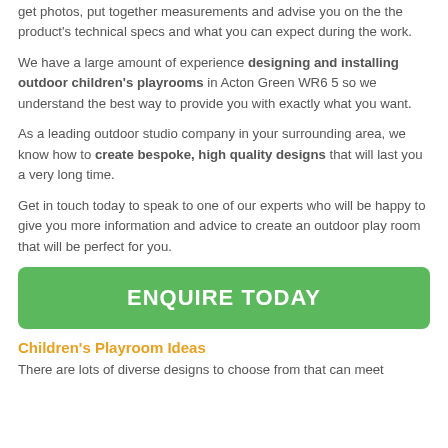get photos, put together measurements and advise you on the the product's technical specs and what you can expect during the work.
We have a large amount of experience designing and installing outdoor children's playrooms in Acton Green WR6 5 so we understand the best way to provide you with exactly what you want.
As a leading outdoor studio company in your surrounding area, we know how to create bespoke, high quality designs that will last you a very long time.
Get in touch today to speak to one of our experts who will be happy to give you more information and advice to create an outdoor play room that will be perfect for you.
[Figure (other): Green button with white text reading ENQUIRE TODAY]
Children's Playroom Ideas
There are lots of diverse designs to choose from that can meet